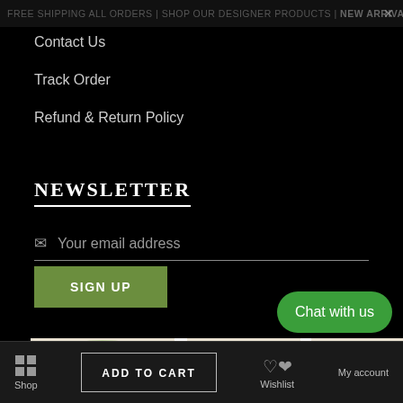FREE SHIPPING ALL ORDERS | SHOP OUR DESIGNER PRODUCTS | NEW ARRIVALS | SHOP NOW
Contact Us
Track Order
Refund & Return Policy
NEWSLETTER
Your email address
SIGN UP
[Figure (map): Google Maps screenshot showing local area with Tommy's Express Car Wash, McLain's Market, Suburban Lawn & Garden Center, QuikTrip, and other nearby locations.]
Chat with us
Shop | ADD TO CART | Wishlist | My account